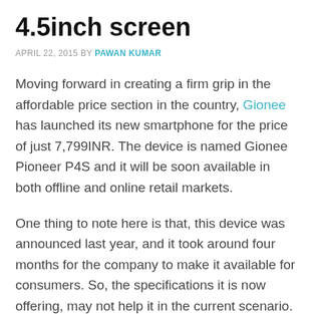4.5inch screen
APRIL 22, 2015 BY PAWAN KUMAR
Moving forward in creating a firm grip in the affordable price section in the country, Gionee has launched its new smartphone for the price of just 7,799INR. The device is named Gionee Pioneer P4S and it will be soon available in both offline and online retail markets.
One thing to note here is that, this device was announced last year, and it took around four months for the company to make it available for consumers. So, the specifications it is now offering, may not help it in the current scenario.
The highlight features of the device are its